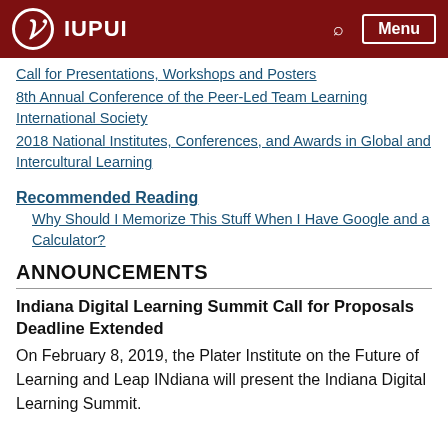IUPUI
Call for Presentations, Workshops and Posters
8th Annual Conference of the Peer-Led Team Learning International Society
2018 National Institutes, Conferences, and Awards in Global and Intercultural Learning
Recommended Reading
Why Should I Memorize This Stuff When I Have Google and a Calculator?
ANNOUNCEMENTS
Indiana Digital Learning Summit Call for Proposals Deadline Extended
On February 8, 2019, the Plater Institute on the Future of Learning and Leap INdiana will present the Indiana Digital Learning Summit.